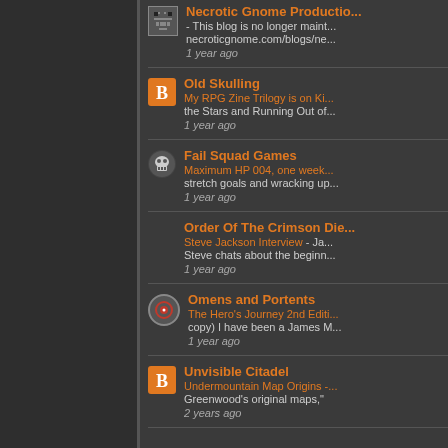Necrotic Gnome Productions - This blog is no longer maintained. necroticgnome.com/blogs/ne... 1 year ago
Old Skulling - My RPG Zine Trilogy is on Ki... the Stars and Running Out of... 1 year ago
Fail Squad Games - Maximum HP 004, one week... stretch goals and wracking up... 1 year ago
Order Of The Crimson Die - Steve Jackson Interview - Ja... Steve chats about the beginn... 1 year ago
Omens and Portents - The Hero's Journey 2nd Editi... copy) I have been a James M... 1 year ago
Unvisible Citadel - Undermountain Map Origins -... Greenwood's original maps," 2 years ago